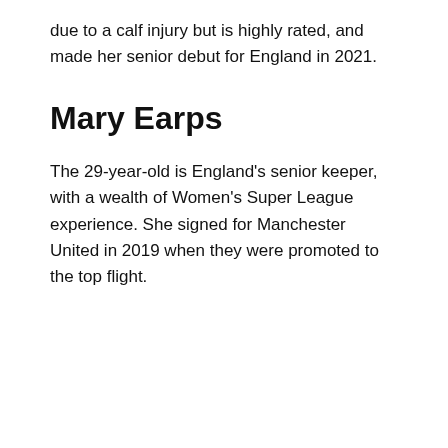due to a calf injury but is highly rated, and made her senior debut for England in 2021.
Mary Earps
The 29-year-old is England's senior keeper, with a wealth of Women's Super League experience. She signed for Manchester United in 2019 when they were promoted to the top flight.